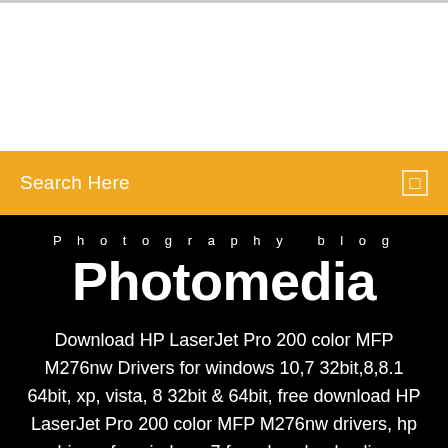[Figure (screenshot): White top section with light gray top border, representing top of a webpage]
Search Here
Photography blog
Photomedia
Download HP LaserJet Pro 200 color MFP M276nw Drivers for windows 10,7 32bit,8,8.1 64bit, xp, vista, 8 32bit & 64bit, free download HP LaserJet Pro 200 color MFP M276nw drivers, hp drivers for windows 7 free download online.
[Figure (illustration): Three partial social media icon circles at bottom of black section]